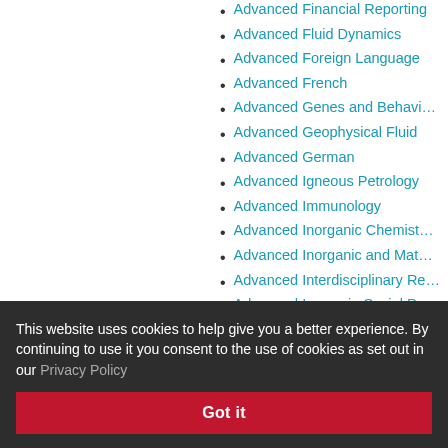Advanced Financial Reporting
Advanced Fluid Dynamics
Advanced Foreign Language
Advanced French
Advanced Genes and Behaviour
Advanced Geophysical Fluid
Advanced German
Advanced Igneous Petrology
Advanced Immunology
Advanced Inorganic Chemistry
Advanced Inorganic and Materials
Advanced Interdisciplinary Re…
Advanced Issues in Social Ps…
Advanced Japanese
Advanced Legal and Socio-L…
Advanced Manufacturing Pro…
a Networks
Advanced Microeconomics
Advanced Mobile Radio Tech…
This website uses cookies to help give you a better experience. By continuing to use it you consent to the use of cookies as set out in our Privacy Policy
Got it